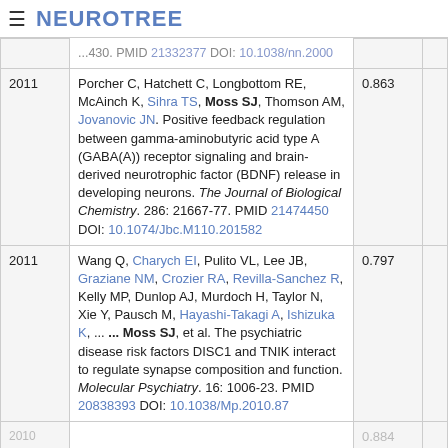NEUROTREE
| Year | Reference | Score |  |
| --- | --- | --- | --- |
|  | ...430. PMID 21332377 DOI: 10.1038/nn.2000 |  |
| 2011 | Porcher C, Hatchett C, Longbottom RE, McAinch K, Sihra TS, Moss SJ, Thomson AM, Jovanovic JN. Positive feedback regulation between gamma-aminobutyric acid type A (GABA(A)) receptor signaling and brain-derived neurotrophic factor (BDNF) release in developing neurons. The Journal of Biological Chemistry. 286: 21667-77. PMID 21474450 DOI: 10.1074/Jbc.M110.201582 | 0.863 |
| 2011 | Wang Q, Charych EI, Pulito VL, Lee JB, Graziane NM, Crozier RA, Revilla-Sanchez R, Kelly MP, Dunlop AJ, Murdoch H, Taylor N, Xie Y, Pausch M, Hayashi-Takagi A, Ishizuka K, ... ... Moss SJ, et al. The psychiatric disease risk factors DISC1 and TNIK interact to regulate synapse composition and function. Molecular Psychiatry. 16: 1006-23. PMID 20838393 DOI: 10.1038/Mp.2010.87 | 0.797 |
| 2010 | ... | 0.884 |